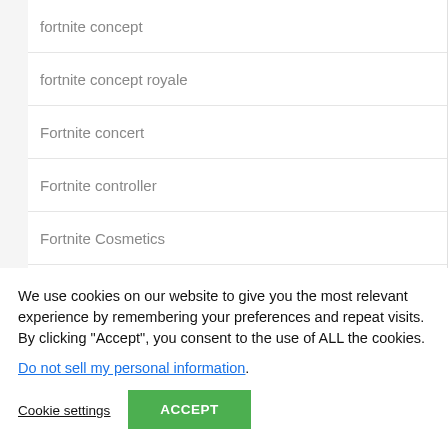fortnite concept
fortnite concept royale
Fortnite concert
Fortnite controller
Fortnite Cosmetics
fortnite cosmic summer celebration
We use cookies on our website to give you the most relevant experience by remembering your preferences and repeat visits. By clicking “Accept”, you consent to the use of ALL the cookies.
Do not sell my personal information.
Cookie settings
ACCEPT